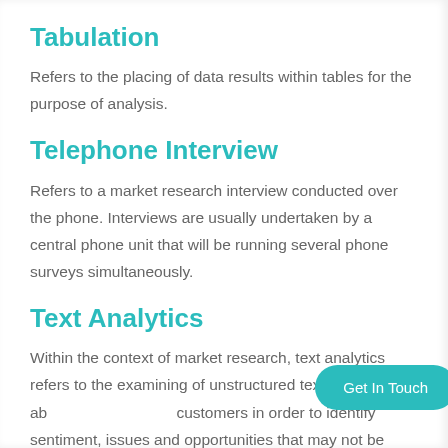Tabulation
Refers to the placing of data results within tables for the purpose of analysis.
Telephone Interview
Refers to a market research interview conducted over the phone. Interviews are usually undertaken by a central phone unit that will be running several phone surveys simultaneously.
Text Analytics
Within the context of market research, text analytics refers to the examining of unstructured text written by or ab… customers in order to identify sentiment, issues and opportunities that may not be